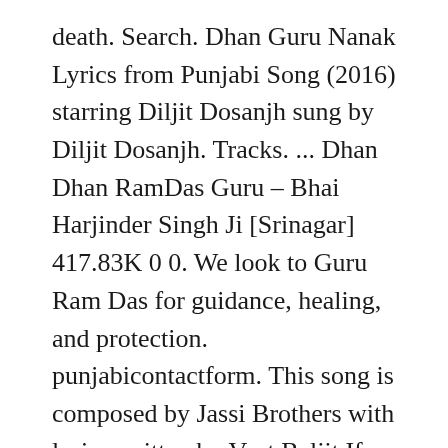death. Search. Dhan Guru Nanak Lyrics from Punjabi Song (2016) starring Diljit Dosanjh sung by Diljit Dosanjh. Tracks. ... Dhan Dhan RamDas Guru – Bhai Harjinder Singh Ji [Srinagar] 417.83K 0 0. We look to Guru Ram Das for guidance, healing, and protection. punjabicontactform. This song is composed by Jassi Brothers with lyrics written by Veet Baljit.If you like this song or our website please do share with your friends and family. Download Sa Rasna Dhan Dhan Hai Meri Jindrhiye on Hungama Music app & get access to Guru Ramdas Raakho Sarnai unlimited free songs, free movies, latest music videos, online radio, new TV shows and much more at Hungama. Album Tracks.